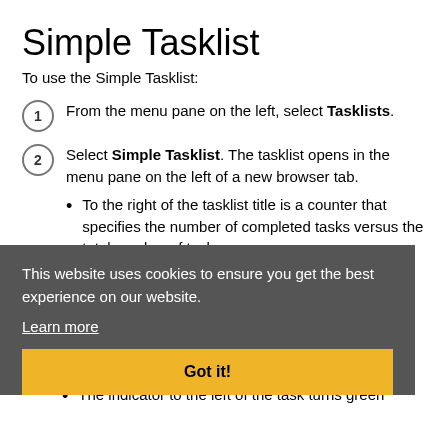Simple Tasklist
To use the Simple Tasklist:
From the menu pane on the left, select Tasklists.
Select Simple Tasklist. The tasklist opens in the menu pane on the left of a new browser tab. • To the right of the tasklist title is a counter that specifies the number of completed tasks versus the total number of tasks.
This website uses cookies to ensure you get the best experience on our website.
Learn more
From the menu pane on the left, select the task to perform. • The respective utility opens where the task can be performed.
The indicator to the left of the task turns green